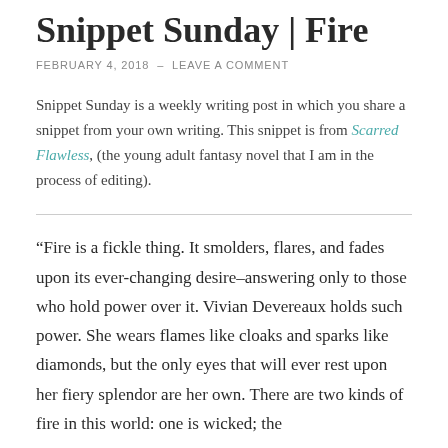Snippet Sunday | Fire
FEBRUARY 4, 2018  –  LEAVE A COMMENT
Snippet Sunday is a weekly writing post in which you share a snippet from your own writing. This snippet is from Scarred Flawless, (the young adult fantasy novel that I am in the process of editing).
“Fire is a fickle thing. It smolders, flares, and fades upon its ever-changing desire–answering only to those who hold power over it. Vivian Devereaux holds such power. She wears flames like cloaks and sparks like diamonds, but the only eyes that will ever rest upon her fiery splendor are her own. There are two kinds of fire in this world: one is wicked; the